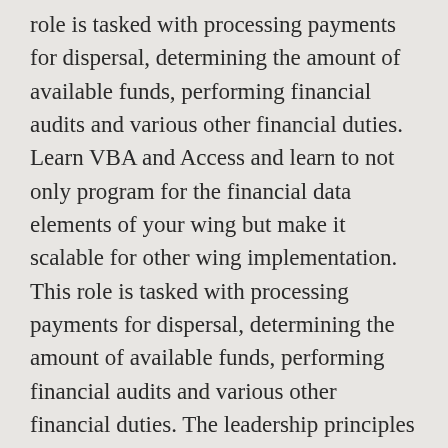role is tasked with processing payments for dispersal, determining the amount of available funds, performing financial audits and various other financial duties. Learn VBA and Access and learn to not only program for the financial data elements of your wing but make it scalable for other wing implementation. This role is tasked with processing payments for dispersal, determining the amount of available funds, performing financial audits and various other financial duties. The leadership principles are guides that have been tested and proven over time by successful leaders. Press question mark to learn the rest of the keyboard shortcuts. After 1-2 years you'll go to wing budget. Provides financial decision support, services